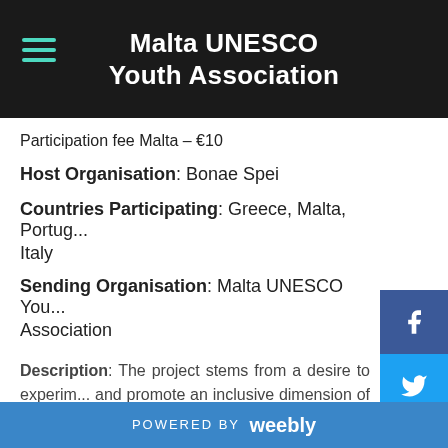Malta UNESCO Youth Association
Participation fee Malta – €10
Host Organisation: Bonae Spei
Countries Participating: Greece, Malta, Portugal, Italy
Sending Organisation: Malta UNESCO Youth Association
Description: The project stems from a desire to experiment and promote an inclusive dimension of sport capable of overcoming physical and cultural barriers and stimulating cooperation among young Europeans. The participants of the exchange will discuss topics such as healthy lifestyle and
POWERED BY weebly